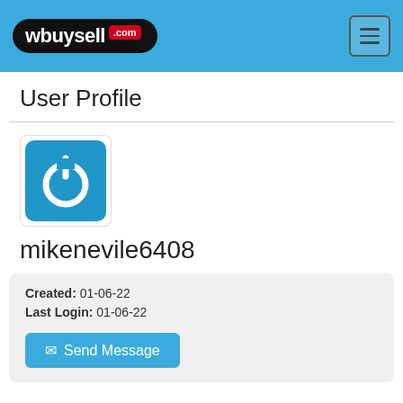wbuysell .com
User Profile
[Figure (logo): Blue rounded square icon with white power button symbol (circle with a vertical line at top)]
mikenevile6408
Created: 01-06-22
Last Login: 01-06-22
Send Message